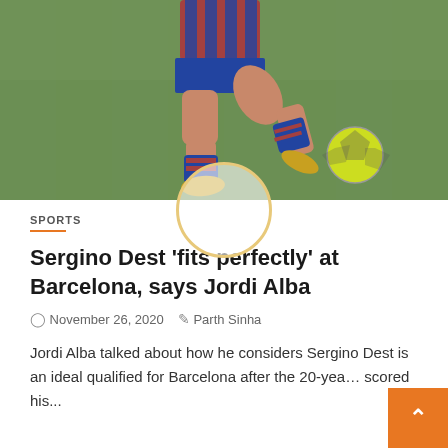[Figure (photo): Soccer player in FC Barcelona blue and red striped kit kicking a yellow-green ball on a green grass pitch, photographed from waist down showing both legs and the ball at foot level.]
SPORTS
Sergino Dest 'fits perfectly' at Barcelona, says Jordi Alba
November 26, 2020   Parth Sinha
Jordi Alba talked about how he considers Sergino Dest is an ideal qualified for Barcelona after the 20-yea… scored his...